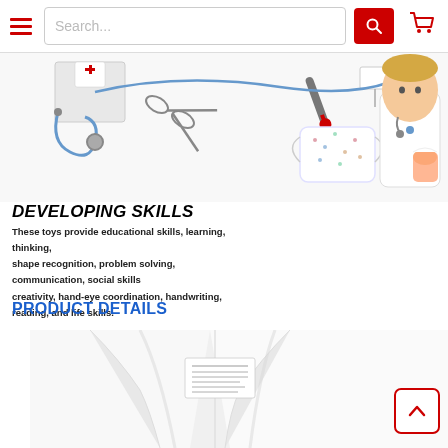Navigation bar with hamburger menu, search box, and cart icon
[Figure (photo): Product photo showing doctor/medical play set toys including stethoscope, scissors, thermometer, face mask, lab coat, and a child dressed as a doctor holding a baby doll]
DEVELOPING SKILLS
These toys provide educational skills, learning, thinking, shape recognition, problem solving, communication, social skills creativity, hand-eye coordination, handwriting, reading, and life skills.
PRODUCT DETAILS
[Figure (photo): Close-up photo of a white doctor lab coat/costume showing collar and label tag detail]